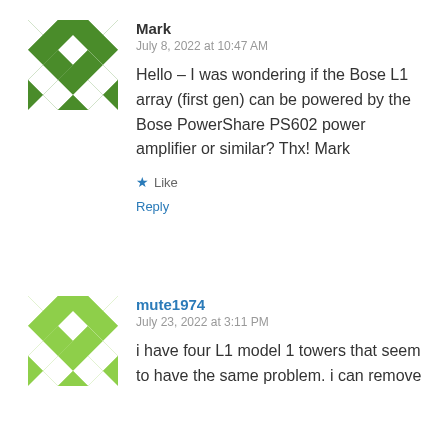Mark
July 8, 2022 at 10:47 AM
Hello – I was wondering if the Bose L1 array (first gen) can be powered by the Bose PowerShare PS602 power amplifier or similar? Thx! Mark
Like
Reply
mute1974
July 23, 2022 at 3:11 PM
i have four L1 model 1 towers that seem to have the same problem. i can remove